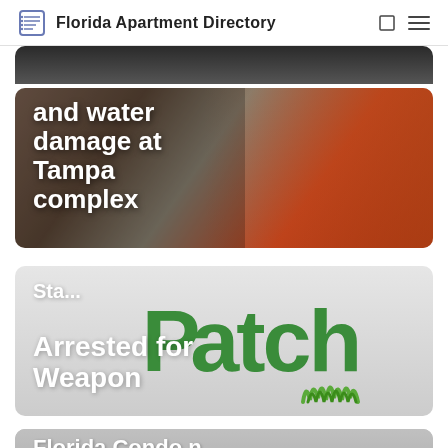Florida Apartment Directory
[Figure (photo): Partial top of a dark photo, cropped]
[Figure (photo): Person in checkered shirt holding a paper near a red door, with overlaid text reading 'and water damage at Tampa complex']
[Figure (photo): Patch media logo (green text 'Patch' with grass icon) on gray background, with overlaid white text 'Sta... Arrested for Weapon']
[Figure (photo): Partial gray card at bottom with text 'Florida Condo n Convicted of Perjury' (cut off)]